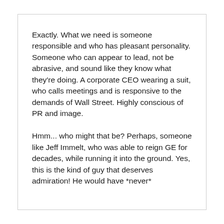Exactly. What we need is someone responsible and who has pleasant personality. Someone who can appear to lead, not be abrasive, and sound like they know what they're doing. A corporate CEO wearing a suit, who calls meetings and is responsive to the demands of Wall Street. Highly conscious of PR and image.

Hmm... who might that be? Perhaps, someone like Jeff Immelt, who was able to reign GE for decades, while running it into the ground. Yes, this is the kind of guy that deserves admiration! He would have *never*